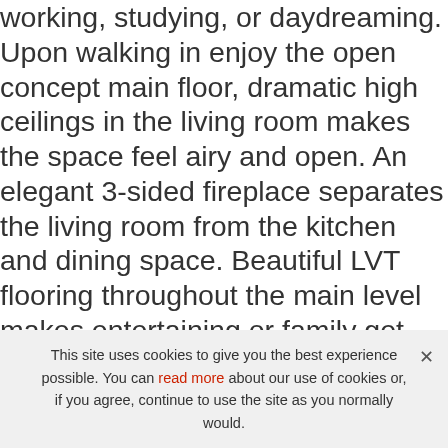working, studying, or daydreaming. Upon walking in enjoy the open concept main floor, dramatic high ceilings in the living room makes the space feel airy and open. An elegant 3-sided fireplace separates the living room from the kitchen and dining space. Beautiful LVT flooring throughout the main level makes entertaining or family get togethers easy to clean up and or pet friendly. The laundry room and a powder room are located on the main level for convenience. The spacious xeriscaped backyard is easily accessed from the sliding door off of the breakfast nook. An open concept staircase will take you upstairs where there is a small nook for studying or working and the master and two
This site uses cookies to give you the best experience possible. You can read more about our use of cookies or, if you agree, continue to use the site as you normally would.